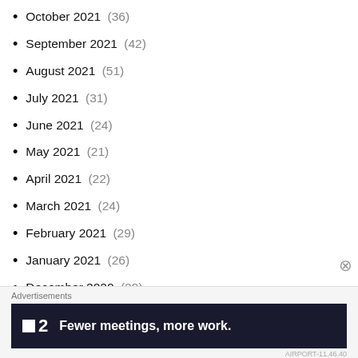October 2021 (36)
September 2021 (42)
August 2021 (51)
July 2021 (31)
June 2021 (24)
May 2021 (21)
April 2021 (22)
March 2021 (24)
February 2021 (29)
January 2021 (26)
December 2020 (29)
November 2020 (27)
October 2020 (33)
September 2020 (27)
[Figure (infographic): Advertisement banner: Fewer meetings, more work. (F2 logo on dark background)]